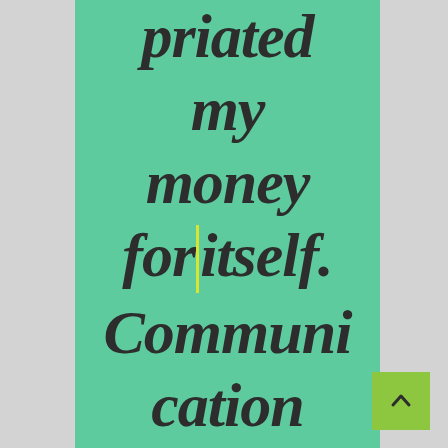priated my money for itself. Communication with them